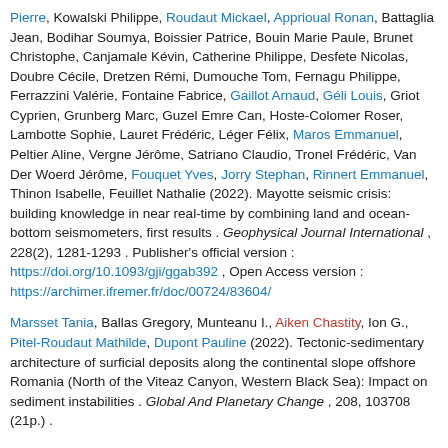Pierre, Kowalski Philippe, Roudaut Mickael, Apprioual Ronan, Battaglia Jean, Bodihar Soumya, Boissier Patrice, Bouin Marie Paule, Brunet Christophe, Canjamale Kévin, Catherine Philippe, Desfete Nicolas, Doubre Cécile, Dretzen Rémi, Dumouche Tom, Fernagu Philippe, Ferrazzini Valérie, Fontaine Fabrice, Gaillot Arnaud, Géli Louis, Griot Cyprien, Grunberg Marc, Guzel Emre Can, Hoste-Colomer Roser, Lambotte Sophie, Lauret Frédéric, Léger Félix, Maros Emmanuel, Peltier Aline, Vergne Jérôme, Satriano Claudio, Tronel Frédéric, Van Der Woerd Jérôme, Fouquet Yves, Jorry Stephan, Rinnert Emmanuel, Thinon Isabelle, Feuillet Nathalie (2022). Mayotte seismic crisis: building knowledge in near real-time by combining land and ocean-bottom seismometers, first results . Geophysical Journal International , 228(2), 1281-1293 . Publisher's official version : https://doi.org/10.1093/gji/ggab392 , Open Access version : https://archimer.ifremer.fr/doc/00724/83604/
Marsset Tania, Ballas Gregory, Munteanu I., Aiken Chastity, Ion G., Pitel-Roudaut Mathilde, Dupont Pauline (2022). Tectonic-sedimentary architecture of surficial deposits along the continental slope offshore Romania (North of the Viteaz Canyon, Western Black Sea): Impact on sediment instabilities . Global And Planetary Change , 208, 103708 (21p.) .